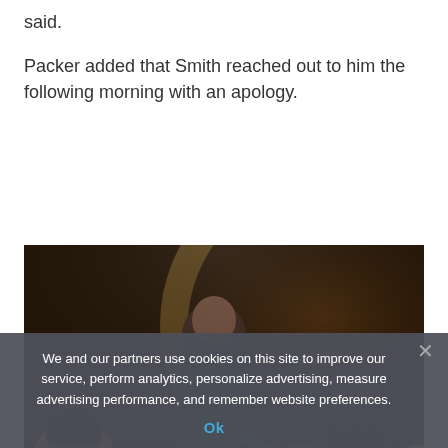said.
Packer added that Smith reached out to him the following morning with an apology.
[Figure (photo): Two people seated in what appears to be an awards ceremony venue. One person in a dark jacket is facing away, looking at another individual in a dark outfit who is seated and looking upward. A third person in gold attire is partially visible at lower left. The background shows a large curved illuminated ring/stage element.]
We and our partners use cookies on this site to improve our service, perform analytics, personalize advertising, measure advertising performance, and remember website preferences.
Ok